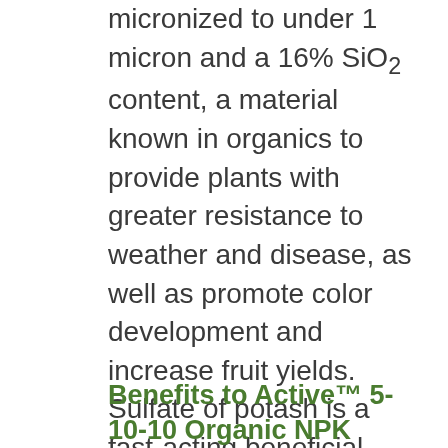micronized to under 1 micron and a 16% SiO2 content, a material known in organics to provide plants with greater resistance to weather and disease, as well as promote color development and increase fruit yields. Sulfate of potash is a fast-acting beneficial potassium source, rounding out the macronutrients in this plant available balanced NPK fertilizer. Active™ 5-10-10's plant-derived N content helps the phosphorus and potassium to be readily assimilated by plants, providing a healthy, controllable application of nutrients, just when they are needed most.
Benefits to Active™ 5-10-10 Organic NPK